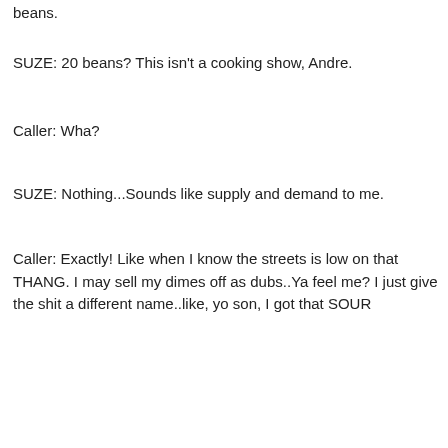beans.
SUZE: 20 beans? This isn't a cooking show, Andre.
Caller: Wha?
SUZE: Nothing...Sounds like supply and demand to me.
Caller: Exactly! Like when I know the streets is low on that THANG. I may sell my dimes off as dubs..Ya feel me? I just give the shit a different name..like, yo son, I got that SOUR DIESEL! Or the new thing is...Yo, I got that "LOST"...You ever seen that show Suze? That show will fuck your head up!
SUZE: What?! Hell yeah, that's my show! I love Kate. I wanna bite her.
Caller: What the fuck?
SUZE: Did you have a fucking point Andre?
Caller: How the fuck I convince this bitch to give me wi-